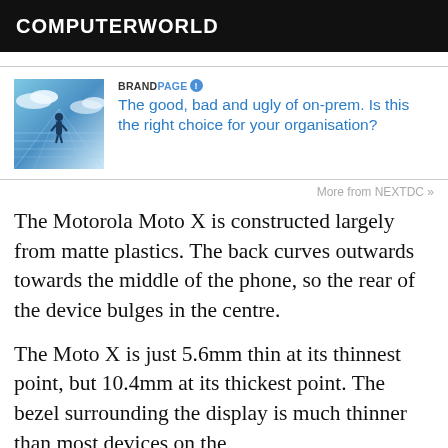COMPUTERWORLD
[Figure (photo): Person standing in a futuristic blue grid corridor with clouds, representing on-premise infrastructure.]
BRANDPAGE The good, bad and ugly of on-prem. Is this the right choice for your organisation?
More from NEXTDC »
The Motorola Moto X is constructed largely from matte plastics. The back curves outwards towards the middle of the phone, so the rear of the device bulges in the centre.
The Moto X is just 5.6mm thin at its thinnest point, but 10.4mm at its thickest point. The bezel surrounding the display is much thinner than most devices on the